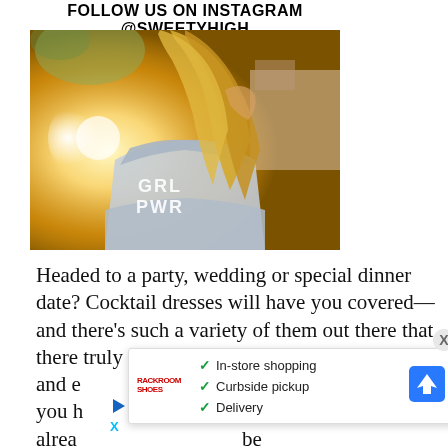FOLLOW US ON INSTAGRAM @SWEETYHIGH
[Figure (photo): Young woman with long blonde hair wearing a denim jacket with 'GRL PWR' written on the back, photographed from behind in warm sunlight]
Headed to a party, wedding or special dinner date? Cocktail dresses will have you covered—and there's such a variety of them out there that there truly is a look for any and every occasion. Because we love helping you have an amazing style, we've rounded up some of our favorite cocktail dresses that you should already have in your closet—or should shop for right now!
[Figure (infographic): Advertisement overlay showing store options: In-store shopping, Curbside pickup, Delivery with a navigation/directions icon and store logo]